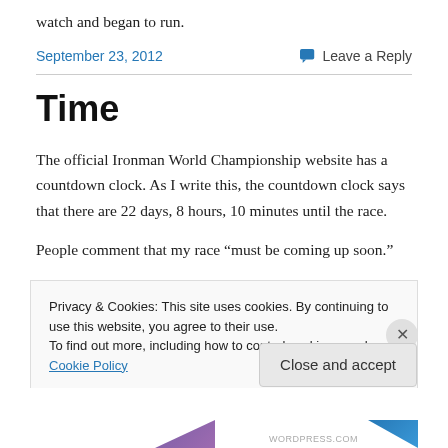watch and began to run.
September 23, 2012
Leave a Reply
Time
The official Ironman World Championship website has a countdown clock. As I write this, the countdown clock says that there are 22 days, 8 hours, 10 minutes until the race.
People comment that my race “must be coming up soon.”
Privacy & Cookies: This site uses cookies. By continuing to use this website, you agree to their use.
To find out more, including how to control cookies, see here: Cookie Policy
Close and accept